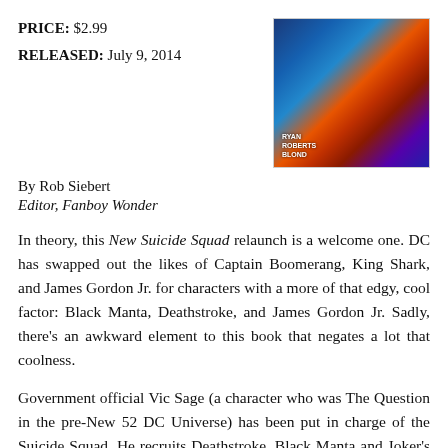PRICE: $2.99
RELEASED: July 9, 2014
[Figure (illustration): Comic book cover art with blue and orange tones showing armored/costumed characters, credits reading RYAN, ROBERTS, BLOND]
By Rob Siebert
Editor, Fanboy Wonder
In theory, this New Suicide Squad relaunch is a welcome one. DC has swapped out the likes of Captain Boomerang, King Shark, and James Gordon Jr. for characters with a more of that edgy, cool factor: Black Manta, Deathstroke, and James Gordon Jr. Sadly, there’s an awkward element to this book that negates a lot that coolness.
Government official Vic Sage (a character who was The Question in the pre-New 52 DC Universe) has been put in charge of the Suicide Squad. He recruits Deathstroke, Black Manta and Joker’s Daughter to the